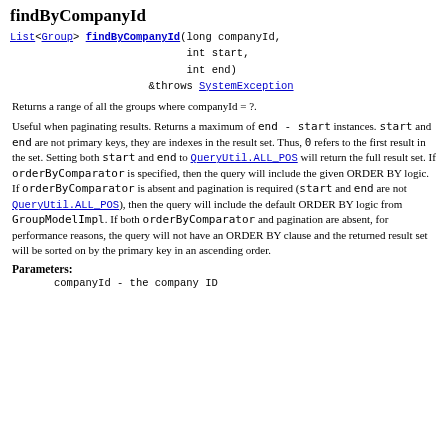findByCompanyId
List<Group> findByCompanyId(long companyId,
                          int start,
                          int end)
                   throws SystemException
Returns a range of all the groups where companyId = ?.
Useful when paginating results. Returns a maximum of end - start instances. start and end are not primary keys, they are indexes in the result set. Thus, 0 refers to the first result in the set. Setting both start and end to QueryUtil.ALL_POS will return the full result set. If orderByComparator is specified, then the query will include the given ORDER BY logic. If orderByComparator is absent and pagination is required (start and end are not QueryUtil.ALL_POS), then the query will include the default ORDER BY logic from GroupModelImpl. If both orderByComparator and pagination are absent, for performance reasons, the query will not have an ORDER BY clause and the returned result set will be sorted on by the primary key in an ascending order.
Parameters:
companyId - the company ID